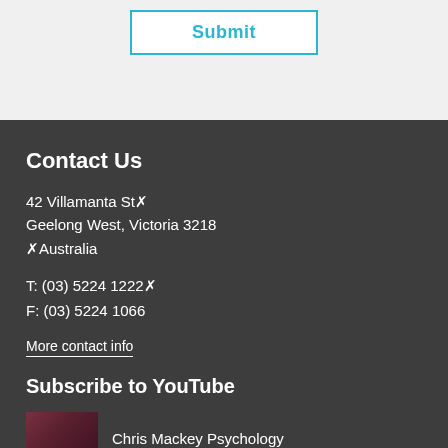Submit
Contact Us
42 Villamanta St
Geelong West, Victoria 3218
Australia
T: (03) 5224 1222
F: (03) 5224 1066
More contact info
Subscribe to YouTube
Chris Mackey Psychology